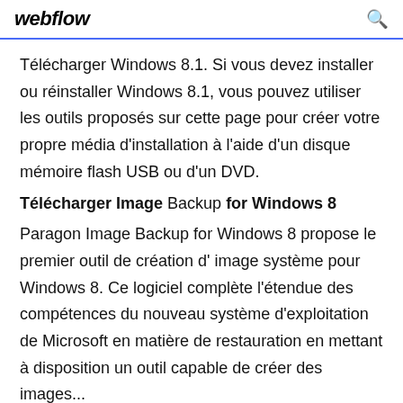webflow
Télécharger Windows 8.1. Si vous devez installer ou réinstaller Windows 8.1, vous pouvez utiliser les outils proposés sur cette page pour créer votre propre média d'installation à l'aide d'un disque mémoire flash USB ou d'un DVD.
Télécharger Image Backup for Windows 8
Paragon Image Backup for Windows 8 propose le premier outil de création d' image système pour Windows 8. Ce logiciel complète l'étendue des compétences du nouveau système d'exploitation de Microsoft en matière de restauration en mettant à disposition un outil capable de créer des images...
Télécharger Flash Optimizer (gratuit) Free.